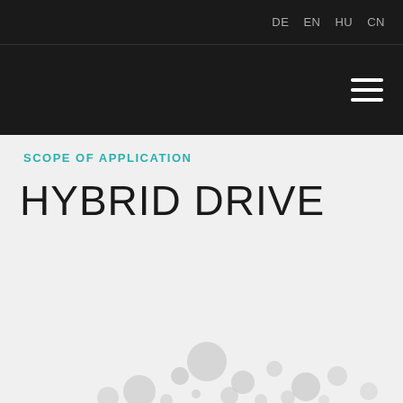DE  EN  HU  CN
SCOPE OF APPLICATION
HYBRID DRIVE
[Figure (illustration): Decorative dot/bubble pattern illustration at the bottom of the page, showing circular shapes of various sizes in light gray tones arranged across the bottom portion of the content area, suggesting a molecular or network motif.]